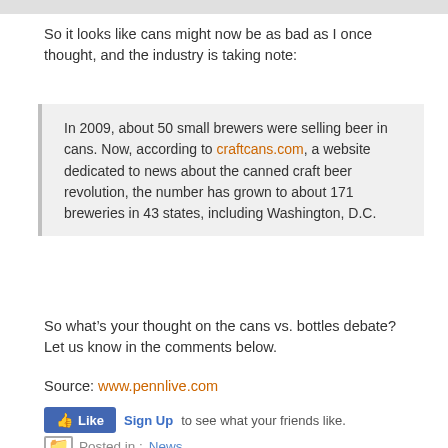So it looks like cans might now be as bad as I once thought, and the industry is taking note:
In 2009, about 50 small brewers were selling beer in cans. Now, according to craftcans.com, a website dedicated to news about the canned craft beer revolution, the number has grown to about 171 breweries in 43 states, including Washington, D.C.
So what’s your thought on the cans vs. bottles debate?  Let us know in the comments below.
Source: www.pennlive.com
Like  Sign Up to see what your friends like.
Posted in : News
Tags : bottles , cans , craftcans.com , Lancaster Brewing